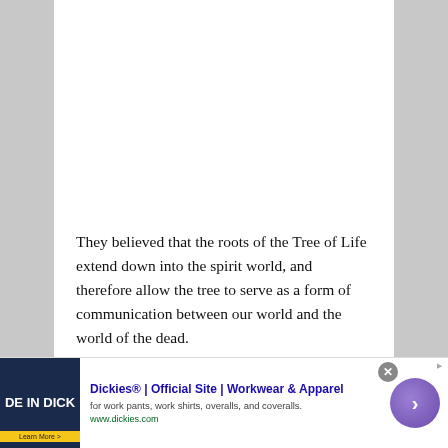They believed that the roots of the Tree of Life extend down into the spirit world, and therefore allow the tree to serve as a form of communication between our world and the world of the dead.
This octagonal spirit board has been created and